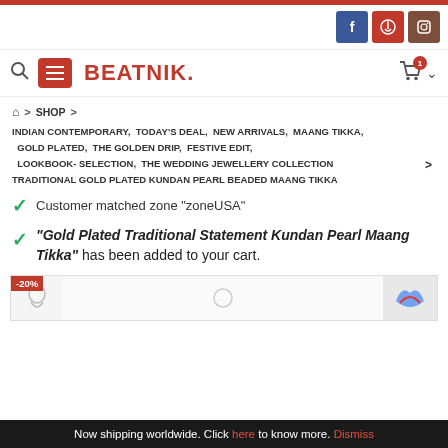BEATNIK. — Navigation header with search, menu, logo, and cart
Home > SHOP > INDIAN CONTEMPORARY,  TODAY'S DEAL,  NEW ARRIVALS,  MAANG TIKKA,  GOLD PLATED,  THE GOLDEN DRIP,  FESTIVE EDIT,  LOOKBOOK- SELECTION,  THE WEDDING JEWELLERY COLLECTION > TRADITIONAL GOLD PLATED KUNDAN PEARL BEADED MAANG TIKKA
Customer matched zone "zoneUSA"
"Gold Plated Traditional Statement Kundan Pearl Maang Tikka" has been added to your cart.
[Figure (screenshot): Product preview area with -20% badge, product image placeholder, and captcha placeholder]
Now shipping worldwide. Click here to know more. Dismiss